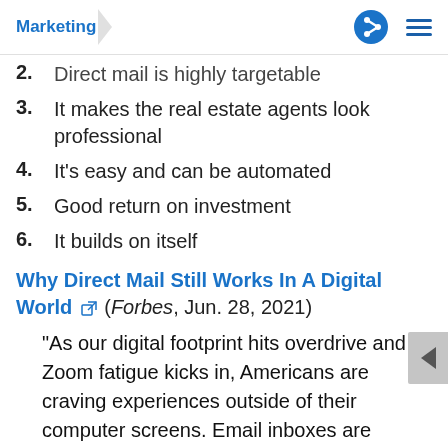Marketing
2. Direct mail is highly targetable
3. It makes the real estate agents look professional
4. It's easy and can be automated
5. Good return on investment
6. It builds on itself
Why Direct Mail Still Works In A Digital World (Forbes, Jun. 28, 2021)
“As our digital footprint hits overdrive and Zoom fatigue kicks in, Americans are craving experiences outside of their computer screens. Email inboxes are overflowing, and people are growing